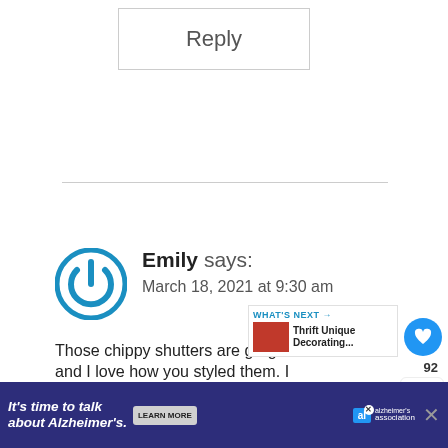Reply
Emily says:
March 18, 2021 at 9:30 am
Those chippy shutters are gorgeous and I love how you styled them. I often find salvaged pieces and know what to do with them so I leave
[Figure (infographic): WHAT'S NEXT arrow with thumbnail: Thrift Unique Decorating...]
It's time to talk about Alzheimer's. LEARN MORE